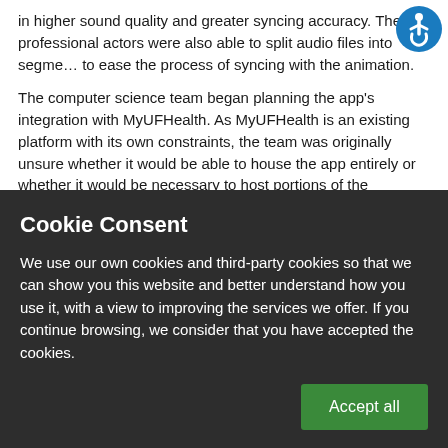in higher sound quality and greater syncing accuracy. The professional actors were also able to split audio files into segments to ease the process of syncing with the animation.

The computer science team began planning the app's integration with MyUFHealth. As MyUFHealth is an existing platform with its own constraints, the team was originally unsure whether it would be able to house the app entirely or whether it would be necessary to host portions of the intervention on an external server. Using an external site would allow for easier tracking of users but raised security concerns. Particularly problematic was the need to import
[Figure (other): Accessibility icon — blue circle with white wheelchair/person symbol]
Cookie Consent
We use our own cookies and third-party cookies so that we can show you this website and better understand how you use it, with a view to improving the services we offer. If you continue browsing, we consider that you have accepted the cookies.